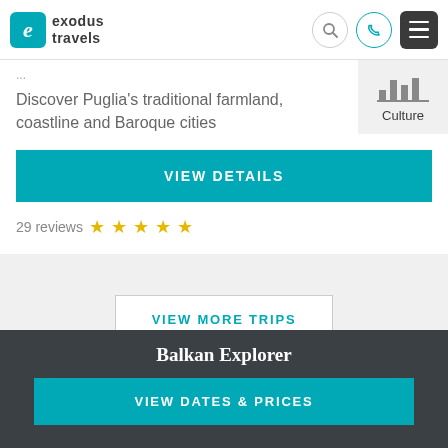exodus travels
Discover Puglia's traditional farmland, coastline and Baroque cities
Culture
VIEW DETAILS
29 reviews ★ ★ ★ ★ ★
VIEW MORE TRIPS
Balkan Explorer
VIEW DATES & PRICES